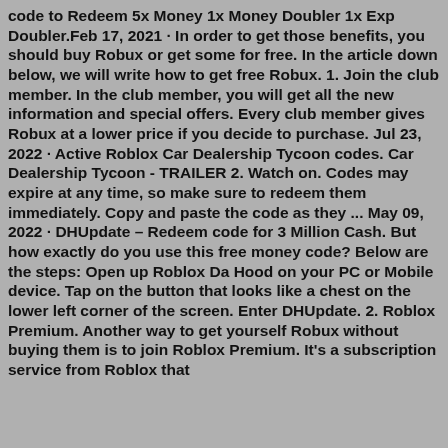code to Redeem 5x Money 1x Money Doubler 1x Exp Doubler.Feb 17, 2021 · In order to get those benefits, you should buy Robux or get some for free. In the article down below, we will write how to get free Robux. 1. Join the club member. In the club member, you will get all the new information and special offers. Every club member gives Robux at a lower price if you decide to purchase. Jul 23, 2022 · Active Roblox Car Dealership Tycoon codes. Car Dealership Tycoon - TRAILER 2. Watch on. Codes may expire at any time, so make sure to redeem them immediately. Copy and paste the code as they ... May 09, 2022 · DHUpdate – Redeem code for 3 Million Cash. But how exactly do you use this free money code? Below are the steps: Open up Roblox Da Hood on your PC or Mobile device. Tap on the button that looks like a chest on the lower left corner of the screen. Enter DHUpdate. 2. Roblox Premium. Another way to get yourself Robux without buying them is to join Roblox Premium. It's a subscription service from Roblox that gives you access to lots of extra benefits. You to...